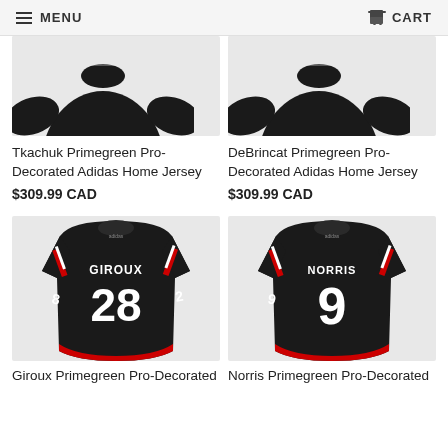MENU  CART
[Figure (photo): Tkachuk hockey jersey product image cropped from top]
Tkachuk Primegreen Pro-Decorated Adidas Home Jersey
$309.99 CAD
[Figure (photo): DeBrincat hockey jersey product image cropped from top]
DeBrincat Primegreen Pro-Decorated Adidas Home Jersey
$309.99 CAD
[Figure (photo): Giroux #28 black hockey jersey back view]
Giroux Primegreen Pro-Decorated
[Figure (photo): Norris #9 black hockey jersey back view]
Norris Primegreen Pro-Decorated